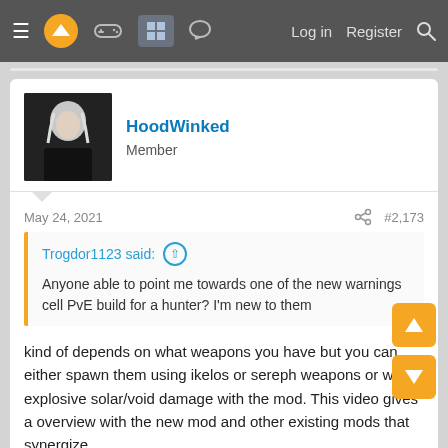Navigation bar with hamburger menu, logo, game icon, forum icon (active), chat icon, Log in, Register, Search
HoodWinked
Member
May 24, 2021
#2,173
Trogdor1123 said: ↑ Anyone able to point me towards one of the new warnings cell PvE build for a hunter? I'm new to them
kind of depends on what weapons you have but you can either spawn them using ikelos or sereph weapons or with explosive solar/void damage with the mod. This video gives a overview with the new mod and other existing mods that synergize.
[Figure (screenshot): Dark video thumbnail showing partial text 'WARMIND' in large white letters on black background]